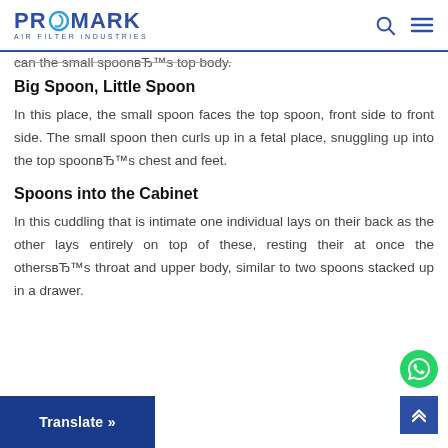PROMARK AIR FILTER INDUSTRIES
can the small spoonвЂ™s top body.
Big Spoon, Little Spoon
In this place, the small spoon faces the top spoon, front side to front side. The small spoon then curls up in a fetal place, snuggling up into the top spoonвЂ™s chest and feet.
Spoons into the Cabinet
In this cuddling that is intimate one individual lays on their back as the other lays entirely on top of these, resting their at once the othervЂ™s throat and upper body, similar to two spoons stacked up in a drawer.